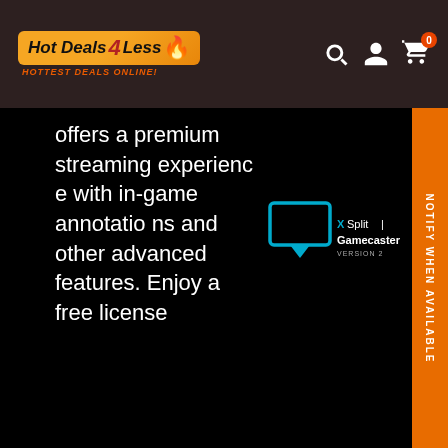Hot Deals 4 Less — HOTTEST DEALS ONLINE!
offers a premium streaming experience with in-game annotations and other advanced features. Enjoy a free license
[Figure (logo): XSplit Gamecaster Version 2 logo with blue monitor/chat bubble icon]
NOTIFY WHEN AVAILABLE